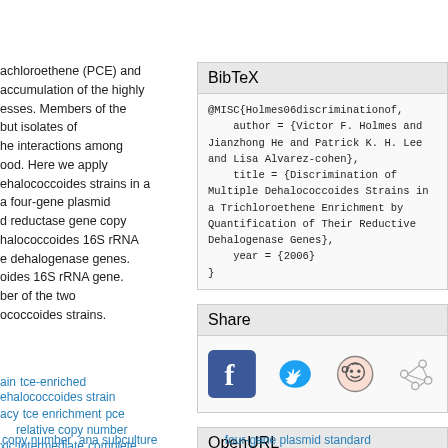achloroethene (PCE) and accumulation of the highly esses. Members of the but isolates of he interactions among ood. Here we apply ehalococcoides strains in a a four-gene plasmid d reductase gene copy halococcoides 16S rRNA e dehalogenase genes. oides 16S rRNA gene. ber of the two ococcoides strains.
BibTeX
@MISC{Holmes06discriminationof,
    author = {Victor F. Holmes and Jianzhong He and Patrick K. H. Lee and Lisa Alvarez-cohen},
    title = {Discrimination of Multiple Dehalococcoides Strains in a Trichloroethene Enrichment by Quantification of Their Reductive Dehalogenase Genes},
    year = {2006}
}
Share
[Figure (infographic): Social sharing icons: Facebook (blue square with f logo), Twitter (blue bird), Reddit (orange alien face), and a network/share icon (gray nodes connected by lines)]
OpenURL
ain   tce-enriched
ehalococcoides strain
acy   tce enrichment   pce
relative copy number
xic intermediate   complete
copy number   ana subculture   four-gene plasmid standard